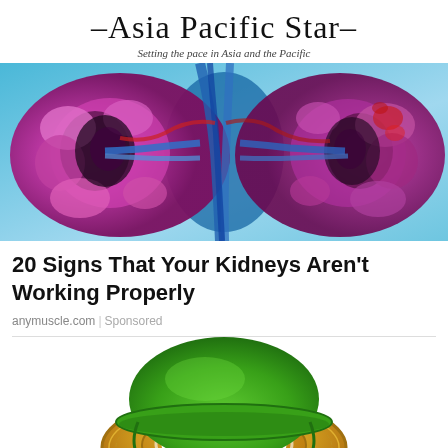–Asia Pacific Star– Setting the pace in Asia and the Pacific
[Figure (photo): Medical illustration of human kidneys anatomy with purple/pink tones on blue background]
20 Signs That Your Kidneys Aren't Working Properly
anymuscle.com | Sponsored
[Figure (illustration): Tether (USDT) cryptocurrency coin wearing a green military helmet, gold coin with white T logo]